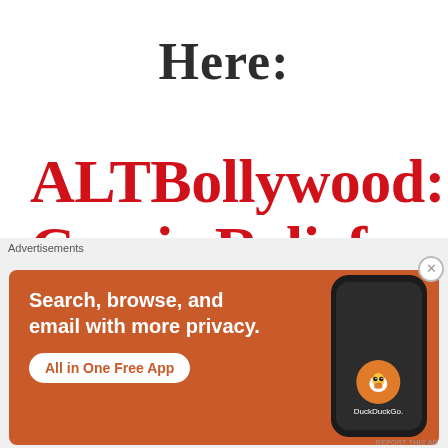Here:
ALTBollywood: Comic Relief By Fekta Kapur
❧ ❧ ❧
Advertisements
[Figure (infographic): DuckDuckGo advertisement banner with orange background. Text reads: Search, browse, and email with more privacy. All in One Free App. Shows a phone with DuckDuckGo logo.]